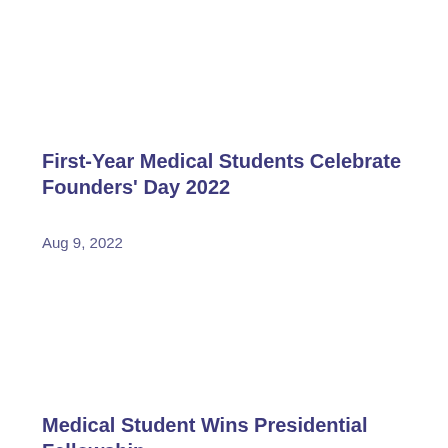First-Year Medical Students Celebrate Founders' Day 2022
Aug 9, 2022
Medical Student Wins Presidential Fellowship